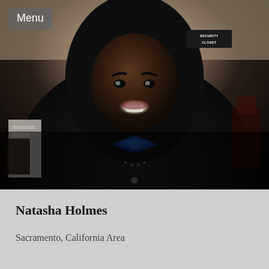[Figure (photo): Profile photo of Natasha Holmes, a smiling woman wearing a black hoodie and blue bow tie, photographed indoors with a security closet sign visible in the background]
Menu
Natasha Holmes
Sacramento, California Area